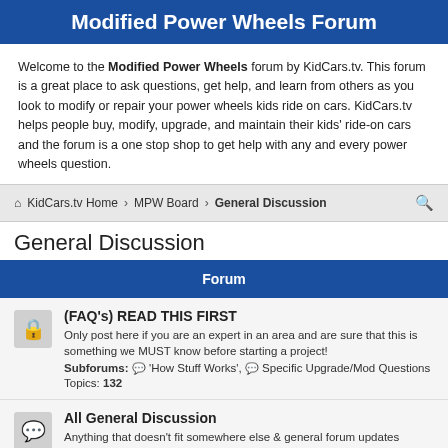Modified Power Wheels Forum
Welcome to the Modified Power Wheels forum by KidCars.tv. This forum is a great place to ask questions, get help, and learn from others as you look to modify or repair your power wheels kids ride on cars. KidCars.tv helps people buy, modify, upgrade, and maintain their kids' ride-on cars and the forum is a one stop shop to get help with any and every power wheels question.
KidCars.tv Home › MPW Board › General Discussion
General Discussion
Forum
(FAQ's) READ THIS FIRST — Only post here if you are an expert in an area and are sure that this is something we MUST know before starting a project! Subforums: 'How Stuff Works', Specific Upgrade/Mod Questions Topics: 132
All General Discussion — Anything that doesn't fit somewhere else & general forum updates Topics: 3208